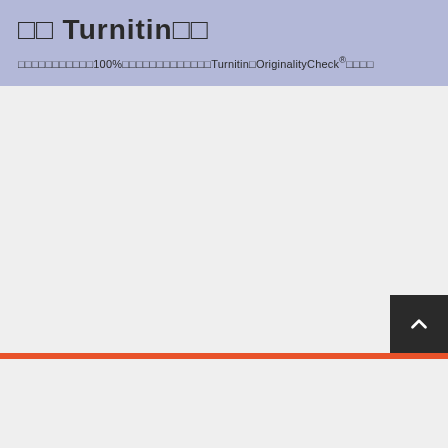□□ Turnitin□□
□□□□□□□□□□□100%□□□□□□□□□□□□□Turnitin□OriginalityCheck®□□□□